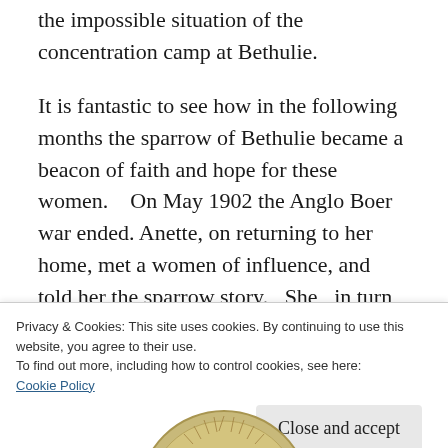the impossible situation of the concentration camp at Bethulie.
It is fantastic to see how in the following months the sparrow of Bethulie became a beacon of faith and hope for these women.   On May 1902 the Anglo Boer war ended. Anette, on returning to her home, met a women of influence, and told her the sparrow story.   She,  in turn, retold the story.
Privacy & Cookies: This site uses cookies. By continuing to use this website, you agree to their use.
To find out more, including how to control cookies, see here:
Cookie Policy
Close and accept
[Figure (photo): Bottom portion of a coin or medallion partially visible at the bottom of the page]